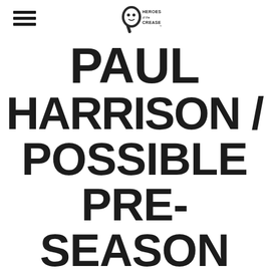Heroes of the Crease [logo]
PAUL HARRISON / POSSIBLE PRE-SEASON VAL JAMES 1981-82 GAME WORN BUFFALO